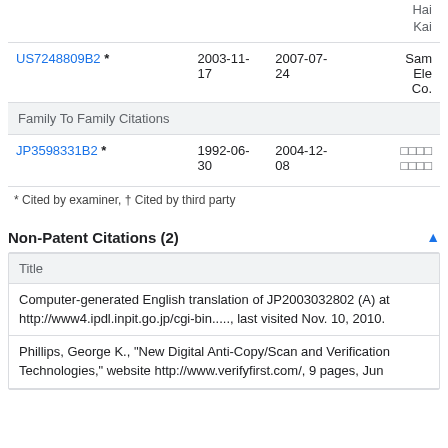| Patent Number | Filed | Publication Date | Assignee |
| --- | --- | --- | --- |
| US7248809B2 * | 2003-11-17 | 2007-07-24 | Sam Ele Co. |
| Family To Family Citations |  |  |  |
| JP3598331B2 * | 1992-06-30 | 2004-12-08 | □□□□ □□□□ |
* Cited by examiner, † Cited by third party
Non-Patent Citations (2)
| Title |
| --- |
| Computer-generated English translation of JP2003032802 (A) at http://www4.ipdl.inpit.go.jp/cgi-bin....., last visited Nov. 10, 2010. |
| Phillips, George K., "New Digital Anti-Copy/Scan and Verification Technologies," website http://www.verifyfirst.com/, 9 pages, Jun |